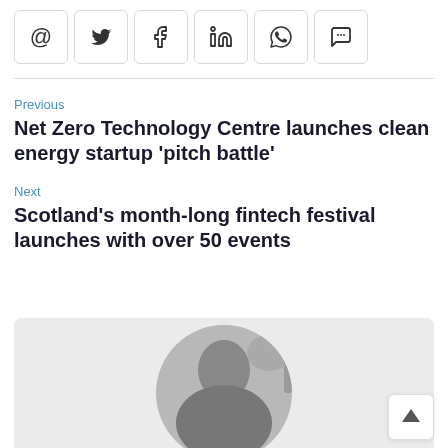[Figure (other): Social sharing icon buttons: email (@), Twitter (bird), Facebook (f), LinkedIn (in), WhatsApp (phone), chat (bubble)]
Previous
Net Zero Technology Centre launches clean energy startup 'pitch battle'
Next
Scotland's month-long fintech festival launches with over 50 events
[Figure (photo): Black and white circular portrait photo of a person, partially visible, set against a light grey background.]